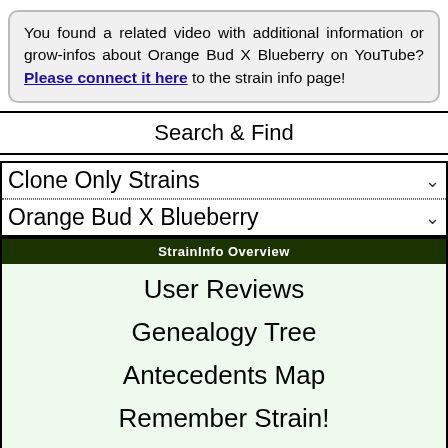You found a related video with additional information or grow-infos about Orange Bud X Blueberry on YouTube? Please connect it here to the strain info page!
Search & Find
Clone Only Strains
Orange Bud X Blueberry
StrainInfo Overview
User Reviews
Genealogy Tree
Antecedents Map
Remember Strain!
Add your info about this strain to the SeedFinder: